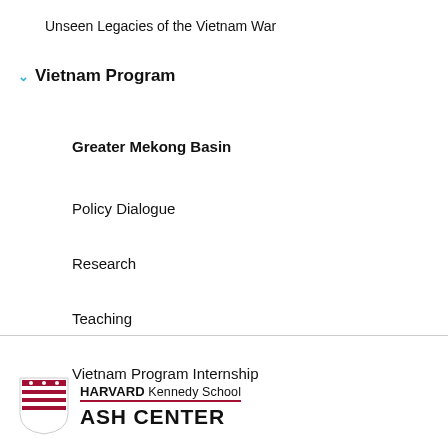Unseen Legacies of the Vietnam War
Vietnam Program
Greater Mekong Basin
Policy Dialogue
Research
Teaching
Vietnam Program Internship
HARVARD Kennedy School ASH CENTER